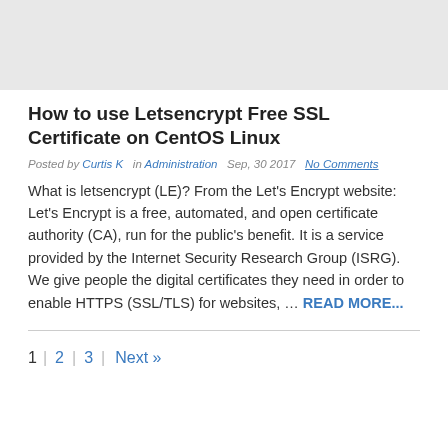[Figure (other): Gray banner/header image placeholder at top of page]
How to use Letsencrypt Free SSL Certificate on CentOS Linux
Posted by Curtis K  in Administration  Sep, 30 2017  No Comments
What is letsencrypt (LE)? From the Let's Encrypt website: Let's Encrypt is a free, automated, and open certificate authority (CA), run for the public's benefit. It is a service provided by the Internet Security Research Group (ISRG). We give people the digital certificates they need in order to enable HTTPS (SSL/TLS) for websites, ... READ MORE...
1  2  3  Next »